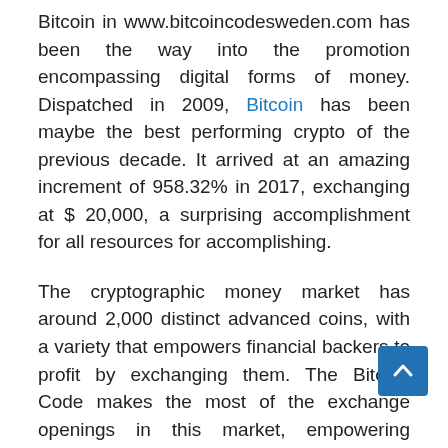Bitcoin in www.bitcoincodesweden.com has been the way into the promotion encompassing digital forms of money. Dispatched in 2009, Bitcoin has been maybe the best performing crypto of the previous decade. It arrived at an amazing increment of 958.32% in 2017, exchanging at $ 20,000, a surprising accomplishment for all resources for accomplishing.
The cryptographic money market has around 2,000 distinct advanced coins, with a variety that empowers financial backers to profit by exchanging them. The Bitcoin Code makes the most of the exchange openings in this market, empowering dealers to exchange cryptographic money effectively.
www.bitcoincodesweden.com were a considerable